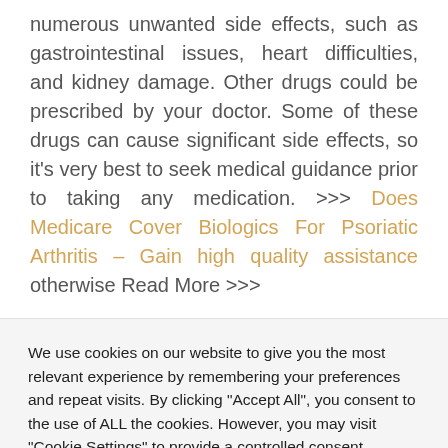numerous unwanted side effects, such as gastrointestinal issues, heart difficulties, and kidney damage. Other drugs could be prescribed by your doctor. Some of these drugs can cause significant side effects, so it's very best to seek medical guidance prior to taking any medication. >>> Does Medicare Cover Biologics For Psoriatic Arthritis – Gain high quality assistance otherwise Read More >>>
We use cookies on our website to give you the most relevant experience by remembering your preferences and repeat visits. By clicking "Accept All", you consent to the use of ALL the cookies. However, you may visit "Cookie Settings" to provide a controlled consent.